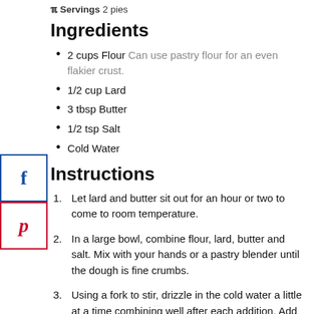Servings 2 pies
Ingredients
2 cups Flour Can use pastry flour for an even flakier crust.
1/2 cup Lard
3 tbsp Butter
1/2 tsp Salt
Cold Water
Instructions
Let lard and butter sit out for an hour or two to come to room temperature.
In a large bowl, combine flour, lard, butter and salt. Mix with your hands or a pastry blender until the dough is fine crumbs.
Using a fork to stir, drizzle in the cold water a little at a time combining well after each addition. Add